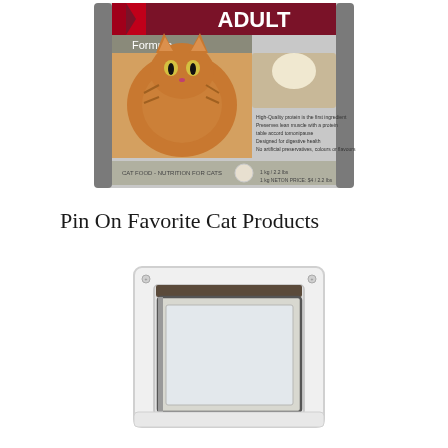[Figure (photo): A cat food package (adult formula) featuring a photo of an orange tabby cat on the front and an image of raw chicken, with text on the packaging.]
Pin On Favorite Cat Products
[Figure (photo): A white plastic cat/pet door flap with a clear translucent panel, shown mounted, slightly ajar to reveal the flap opening inward.]